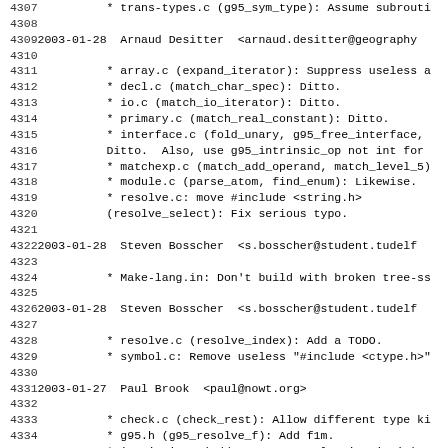4307    * trans-types.c (g95_sym_type): Assume subrouti
4308
4309 2003-01-28  Arnaud Desitter  <arnaud.desitter@geography
4310
4311         * array.c (expand_iterator): Suppress useless a
4312         * decl.c (match_char_spec): Ditto.
4313         * io.c (match_io_iterator): Ditto.
4314         * primary.c (match_real_constant): Ditto.
4315         * interface.c (fold_unary, g95_free_interface,
4316         Ditto.  Also, use g95_intrinsic_op not int for
4317         * matchexp.c (match_add_operand, match_level_5)
4318         * module.c (parse_atom, find_enum): Likewise.
4319         * resolve.c: move #include <string.h>
4320         (resolve_select): Fix serious typo.
4321
4322 2003-01-28  Steven Bosscher  <s.bosscher@student.tudelf
4323
4324         * Make-lang.in: Don't build with broken tree-ss
4325
4326 2003-01-28  Steven Bosscher  <s.bosscher@student.tudelf
4327
4328         * resolve.c (resolve_index): Add a TODO.
4329         * symbol.c: Remove useless "#include <ctype.h>"
4330
4331 2003-01-27  Paul Brook  <paul@nowt.org>
4332
4333         * check.c (check_rest): Allow different type ki
4334         * g95.h (g95_resolve_f): Add f1m.
4335         * intrinsic.c (add_sym_1m, resolve_intrinsic):
4336         * intrinsic.h: Chenge prototypes for MIN and MA
4337         * iresolve.c (g95_resolve_minmax): New function
4338         (g95_resolve_min, g95_resolve_max): Use it.